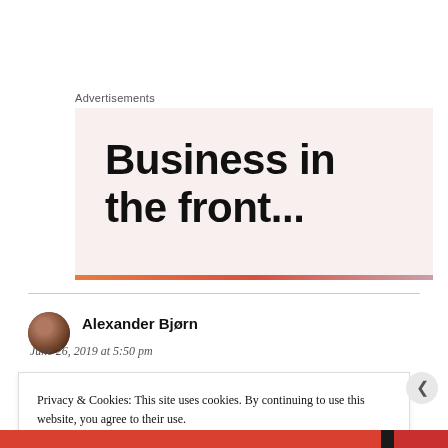Advertisements
[Figure (illustration): Advertisement banner with light pinkish-beige background showing bold black text 'Business in the front...' with a gradient stripe at the bottom (orange to pink/mauve)]
Alexander Bjørn
June 26, 2019 at 5:50 pm
Privacy & Cookies: This site uses cookies. By continuing to use this website, you agree to their use.
To find out more, including how to control cookies, see here: Cookie Policy
Close and accept